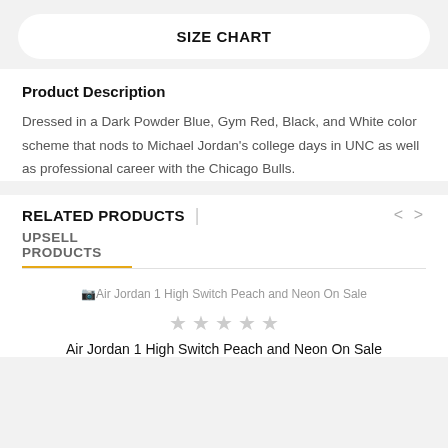SIZE CHART
Product Description
Dressed in a Dark Powder Blue, Gym Red, Black, and White color scheme that nods to Michael Jordan's college days in UNC as well as professional career with the Chicago Bulls.
RELATED PRODUCTS
UPSELL PRODUCTS
[Figure (photo): Broken image placeholder for Air Jordan 1 High Switch Peach and Neon On Sale]
Air Jordan 1 High Switch Peach and Neon On Sale